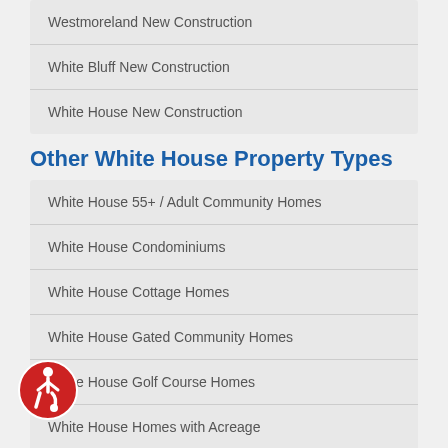Westmoreland New Construction
White Bluff New Construction
White House New Construction
Other White House Property Types
White House 55+ / Adult Community Homes
White House Condominiums
White House Cottage Homes
White House Gated Community Homes
White House Golf Course Homes
White House Homes with Acreage
White House Homes with Covered Patio